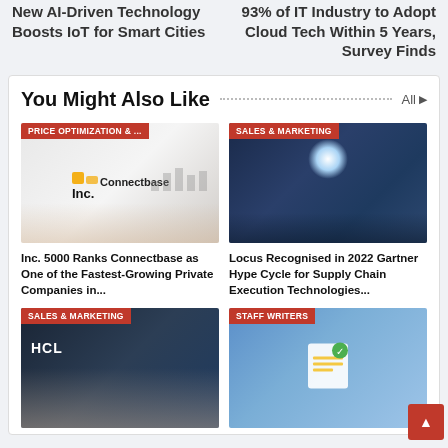New AI-Driven Technology Boosts IoT for Smart Cities
93% of IT Industry to Adopt Cloud Tech Within 5 Years, Survey Finds
You Might Also Like
[Figure (photo): Connectbase Inc. logo with hand holding digital bar chart overlay — PRICE OPTIMIZATION & ... category badge]
[Figure (photo): Person in dark suit holding glowing digital globe on tablet — SALES & MARKETING category badge]
Inc. 5000 Ranks Connectbase as One of the Fastest-Growing Private Companies in...
Locus Recognised in 2022 Gartner Hype Cycle for Supply Chain Execution Technologies...
[Figure (photo): HCL logo with two people looking at laptop — SALES & MARKETING category badge]
[Figure (photo): Illustrated document with checkmark and chart icons on blue background — STAFF WRITERS category badge]